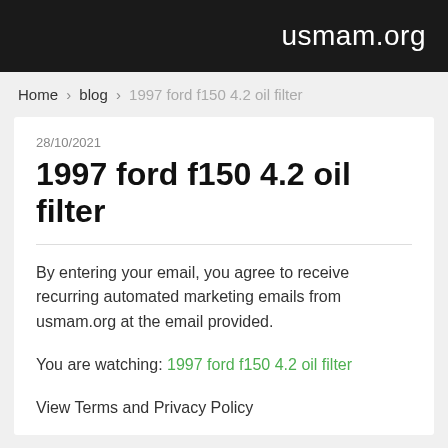usmam.org
Home › blog › 1997 ford f150 4.2 oil filter
28/10/2021
1997 ford f150 4.2 oil filter
By entering your email, you agree to receive recurring automated marketing emails from usmam.org at the email provided.
You are watching: 1997 ford f150 4.2 oil filter
View Terms and Privacy Policy